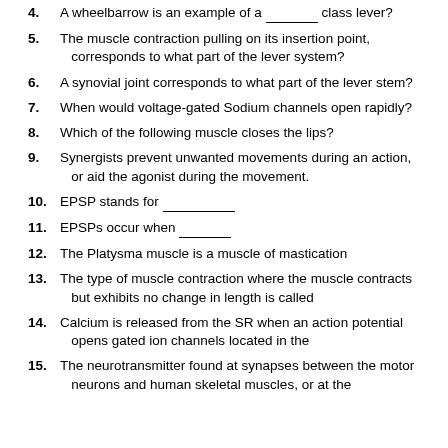4. A wheelbarrow is an example of a _______ class lever?
5. The muscle contraction pulling on its insertion point, corresponds to what part of the lever system?
6. A synovial joint corresponds to what part of the lever stem?
7. When would voltage-gated Sodium channels open rapidly?
8. Which of the following muscle closes the lips?
9. Synergists prevent unwanted movements during an action, or aid the agonist during the movement.
10. EPSP stands for _________
11. EPSPs occur when _______
12. The Platysma muscle is a muscle of mastication
13. The type of muscle contraction where the muscle contracts but exhibits no change in length is called
14. Calcium is released from the SR when an action potential opens gated ion channels located in the
15. The neurotransmitter found at synapses between the motor neurons and human skeletal muscles, or at the